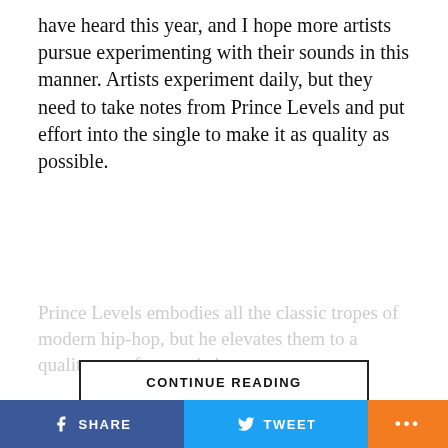have heard this year, and I hope more artists pursue experimenting with their sounds in this manner. Artists experiment daily, but they need to take notes from Prince Levels and put effort into the single to make it as quality as possible.
Prince Levels embodies all the classic tropes of modern hip-hop, but he elevates them to a quality not often...
CONTINUE READING
MUSIC VIDEOS
Island Wave Releases SXSW Show Highlights In Search of Artists to Join This Year's Lineup
SHARE   TWEET   ...